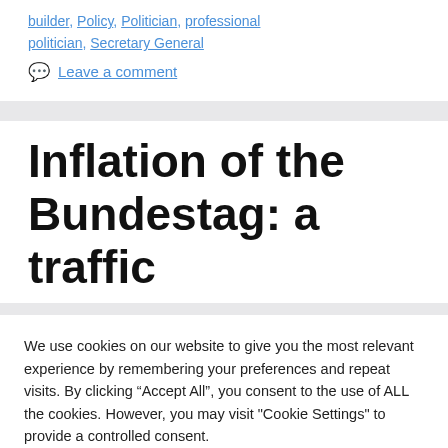builder, Policy, Politician, professional politician, Secretary General
Leave a comment
Inflation of the Bundestag: a traffic
We use cookies on our website to give you the most relevant experience by remembering your preferences and repeat visits. By clicking “Accept All”, you consent to the use of ALL the cookies. However, you may visit "Cookie Settings" to provide a controlled consent.